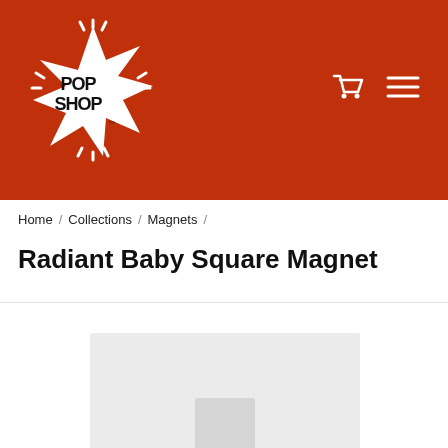[Figure (logo): Pop Shop logo — white star with 'POP SHOP' text and radiating lines on a red background]
[Figure (other): Shopping cart icon and hamburger menu icon in white on red background]
Home / Collections / Magnets /
Radiant Baby Square Magnet
[Figure (photo): Product image area showing a magnet product on a light gray background, partially visible]